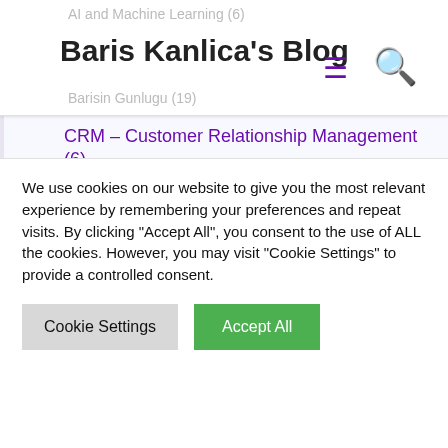Baris Kanlica's Blog
CRM – Customer Relationship Management (6)
Event Speaker (27)
Geleceğe Notlar (33)
İngiliz Çayı Türk Kahvesi (8)
Microsoft Dynamics (36)
We use cookies on our website to give you the most relevant experience by remembering your preferences and repeat visits. By clicking "Accept All", you consent to the use of ALL the cookies. However, you may visit "Cookie Settings" to provide a controlled consent.